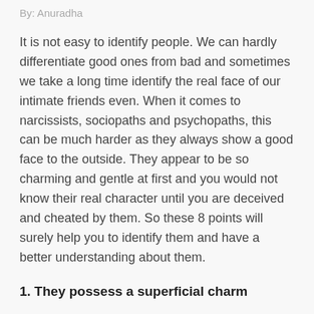By: Anuradha
It is not easy to identify people. We can hardly differentiate good ones from bad and sometimes we take a long time identify the real face of our intimate friends even. When it comes to narcissists, sociopaths and psychopaths, this can be much harder as they always show a good face to the outside. They appear to be so charming and gentle at first and you would not know their real character until you are deceived and cheated by them. So these 8 points will surely help you to identify them and have a better understanding about them.
1. They possess a superficial charm
Narcissists, sociopaths and psychopaths are talented in pleasing people and enchanting them. They will tell you the sweetest things in the world will keep you on pedestal